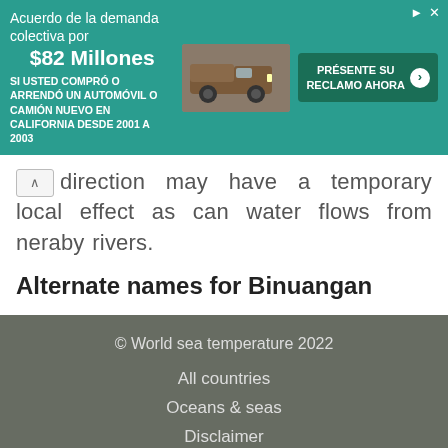[Figure (other): Advertisement banner in teal/green color. Text reads: 'Acuerdo de la demanda colectiva por $82 Millones SI USTED COMPRÓ O ARRENDÓ UN AUTOMÓVIL O CAMIÓN NUEVO EN CALIFORNIA DESDE 2001 A 2003' with an image of a brown pickup truck and a green CTA button 'PRÉSENTE SU RECLAMO AHORA' with arrow.]
direction may have a temporary local effect as can water flows from neraby rivers.
Alternate names for Binuangan
© World sea temperature 2022
All countries
Oceans & seas
Disclaimer
Privacy
Contact